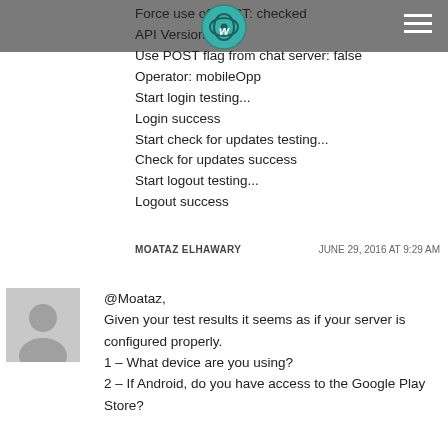Force use of POST: checked
API Version: 04
Use POST flag from chat server: false
Operator: mobileOpp
Start login testing...
Login success
Start check for updates testing...
Check for updates success
Start logout testing...
Logout success
MOATAZ ELHAWARY    JUNE 29, 2016 AT 9:29 AM
@Moataz,
Given your test results it seems as if your server is configured properly.
1 – What device are you using?
2 – If Android, do you have access to the Google Play Store?